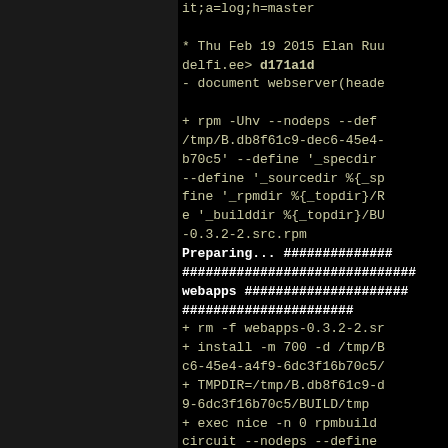[Figure (screenshot): Terminal/console output showing git log and RPM build commands on a black background. Left portion of page is a dark panel. Right portion shows monospace text output including git commit info, rpm build commands with temp path arguments, and package installation steps.]